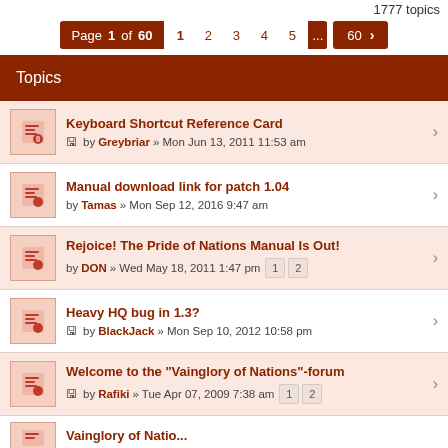1777 topics
Page 1 of 60  1  2  3  4  5  ...  60  >
Topics
Keyboard Shortcut Reference Card by Greybriar » Mon Jun 13, 2011 11:53 am
Manual download link for patch 1.04 by Tamas » Mon Sep 12, 2016 9:47 am
Rejoice! The Pride of Nations Manual Is Out! by DON » Wed May 18, 2011 1:47 pm  1 2
Heavy HQ bug in 1.3? by BlackJack » Mon Sep 10, 2012 10:58 pm
Welcome to the "Vainglory of Nations"-forum by Rafiki » Tue Apr 07, 2009 7:38 am  1 2
Vainglory of Natio...